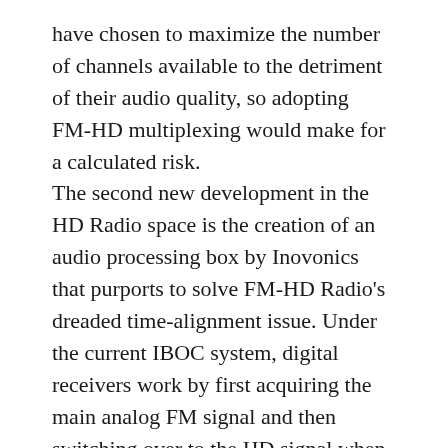have chosen to maximize the number of channels available to the detriment of their audio quality, so adopting FM-HD multiplexing would make for a calculated risk. The second new development in the HD Radio space is the creation of an audio processing box by Inovonics that purports to solve FM-HD Radio's dreaded time-alignment issue. Under the current IBOC system, digital receivers work by first acquiring the main analog FM signal and then switching over to the HD signal when the receiver has buffered enough data. For this to work properly, both analog and digital signals must be properly aligned. But this isn't an easy process — what often ends up happening is that as an HD receiver switches